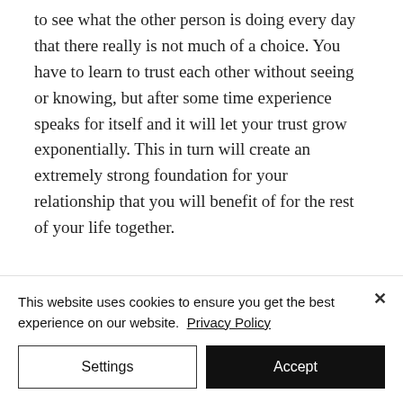to see what the other person is doing every day that there really is not much of a choice. You have to learn to trust each other without seeing or knowing, but after some time experience speaks for itself and it will let your trust grow exponentially. This in turn will create an extremely strong foundation for your relationship that you will benefit of for the rest of your life together.
With love,
[Figure (other): Partial signature lines visible at bottom of main content area]
This website uses cookies to ensure you get the best experience on our website. Privacy Policy
Settings
Accept